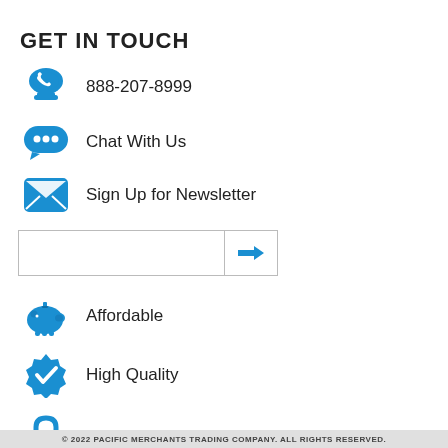GET IN TOUCH
888-207-8999
Chat With Us
Sign Up for Newsletter
Affordable
High Quality
Secure Shopping
Quick Delivery
© 2022 PACIFIC MERCHANTS TRADING COMPANY. ALL RIGHTS RESERVED.